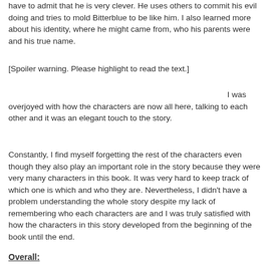have to admit that he is very clever. He uses others to commit his evil doing and tries to mold Bitterblue to be like him. I also learned more about his identity, where he might came from, who his parents were and his true name.
[Spoiler warning. Please highlight to read the text.]
I was overjoyed with how the characters are now all here, talking to each other and it was an elegant touch to the story.
Constantly, I find myself forgetting the rest of the characters even though they also play an important role in the story because they were very many characters in this book. It was very hard to keep track of which one is which and who they are. Nevertheless, I didn't have a problem understanding the whole story despite my lack of remembering who each characters are and I was truly satisfied with how the characters in this story developed from the beginning of the book until the end.
Overall: